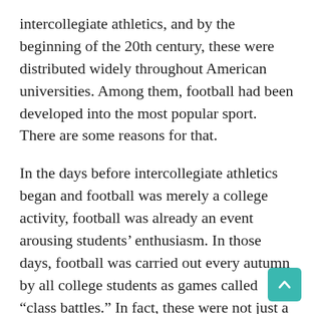intercollegiate athletics, and by the beginning of the 20th century, these were distributed widely throughout American universities. Among them, football had been developed into the most popular sport. There are some reasons for that.
In the days before intercollegiate athletics began and football was merely a college activity, football was already an event arousing students' enthusiasm. In those days, football was carried out every autumn by all college students as games called “class battles.” In fact, these were not just a sport but a scuffle organized by upperclassmen to haze freshmen. Football was an annual event for thoroughly persecuting freshmen in order to instill in them the superiority of the upperclassmen. Major tactics were hitting opponents with fists or kicking their shins so that they could not run any more. Quite naturally, every year the games were bloody, with a lot of students injured. So, the first Monday of every September when the class battles